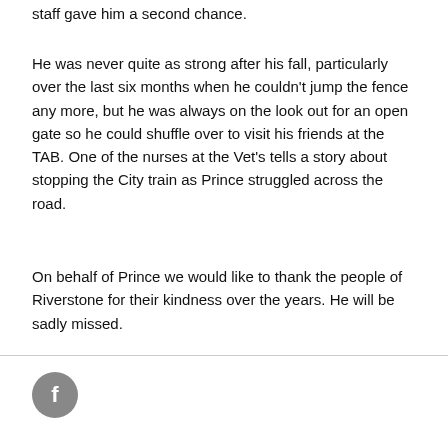staff gave him a second chance.
He was never quite as strong after his fall, particularly over the last six months when he couldn't jump the fence any more, but he was always on the look out for an open gate so he could shuffle over to visit his friends at the TAB. One of the nurses at the Vet's tells a story about stopping the City train as Prince struggled across the road.
On behalf of Prince we would like to thank the people of Riverstone for their kindness over the years. He will be sadly missed.
[Figure (logo): Facebook icon — grey circle with white lowercase f]